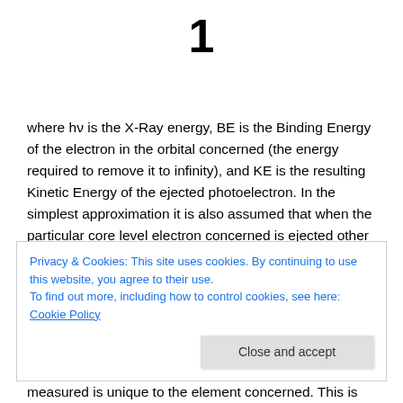1
where hν is the X-Ray energy, BE is the Binding Energy of the electron in the orbital concerned (the energy required to remove it to infinity), and KE is the resulting Kinetic Energy of the ejected photoelectron. In the simplest approximation it is also assumed that when the particular core level electron concerned is ejected other electrons in other molecular orbitals do
Privacy & Cookies: This site uses cookies. By continuing to use this website, you agree to their use.
To find out more, including how to control cookies, see here: Cookie Policy
Close and accept
measured is unique to the element concerned. This is